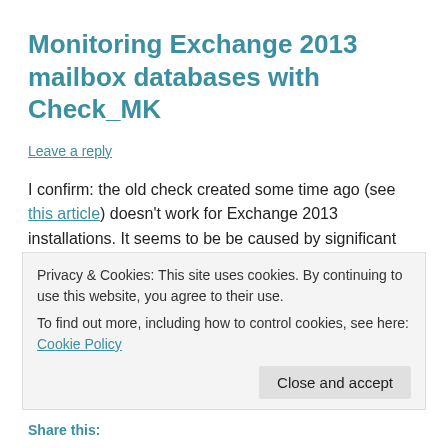Monitoring Exchange 2013 mailbox databases with Check_MK
Leave a reply
I confirm: the old check created some time ago (see this article) doesn't work for Exchange 2013 installations. It seems to be be caused by significant changes on Powershell calls or cmdlets. I am having some troubles to get rid of the issue because I stepped away of Exchange business some time ago. A friend of mine is helping me to make the script working and I'll hopefully publish a new version for Exchange 2013 very soon.
Privacy & Cookies: This site uses cookies. By continuing to use this website, you agree to their use.
To find out more, including how to control cookies, see here: Cookie Policy
Close and accept
Share this: